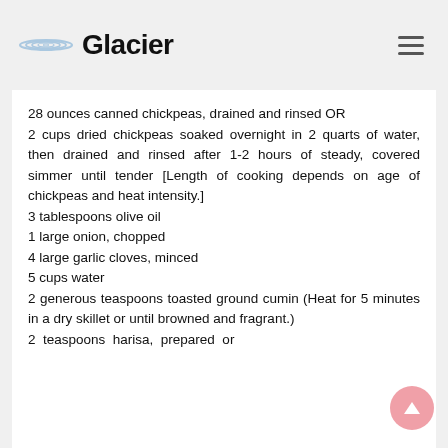Glacier
28 ounces canned chickpeas, drained and rinsed OR
2 cups dried chickpeas soaked overnight in 2 quarts of water, then drained and rinsed after 1-2 hours of steady, covered simmer until tender [Length of cooking depends on age of chickpeas and heat intensity.]
3 tablespoons olive oil
1 large onion, chopped
4 large garlic cloves, minced
5 cups water
2 generous teaspoons toasted ground cumin (Heat for 5 minutes in a dry skillet or until browned and fragrant.)
2 teaspoons harisa, prepared or